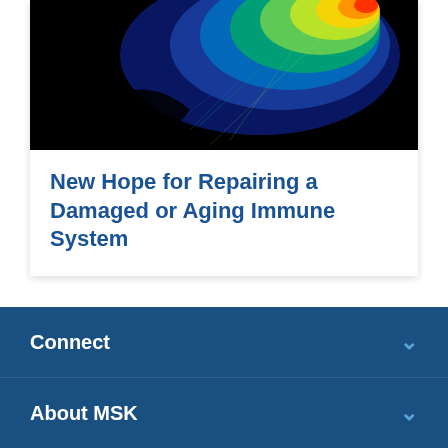[Figure (photo): Thermal or fluorescence microscopy image showing a colorful (blue, green, yellow, red) cell or tissue structure on black background]
New Hope for Repairing a Damaged or Aging Immune System
< (left navigation arrow)
> (right navigation arrow)
Connect
About MSK